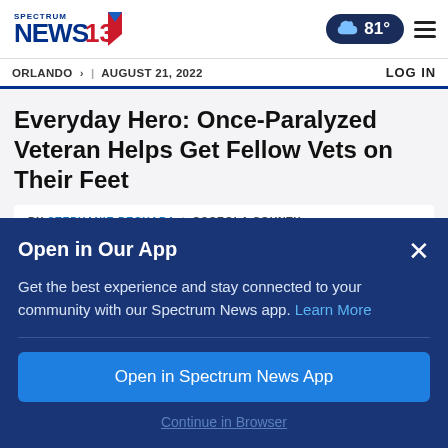SPECTRUM NEWS 13 | 81° | ORLANDO > | AUGUST 21, 2022 | LOG IN
Everyday Hero: Once-Paralyzed Veteran Helps Get Fellow Vets on Their Feet
BY STEPHANIE BECHARA | OSCEOLA COUNTY PUBLISHED 10:15 AM ET NOV. 09, 2020
Open in Our App
Get the best experience and stay connected to your community with our Spectrum News app. Learn More
Open in Spectrum News App
Continue in Browser